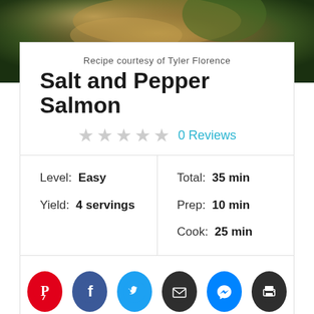[Figure (photo): Food photo background showing salmon dish]
Recipe courtesy of Tyler Florence
Salt and Pepper Salmon
★★★★★ 0 Reviews
Level: Easy
Yield: 4 servings
Total: 35 min
Prep: 10 min
Cook: 25 min
[Figure (infographic): Social share buttons: Pinterest, Facebook, Twitter, Email, Messenger, Print]